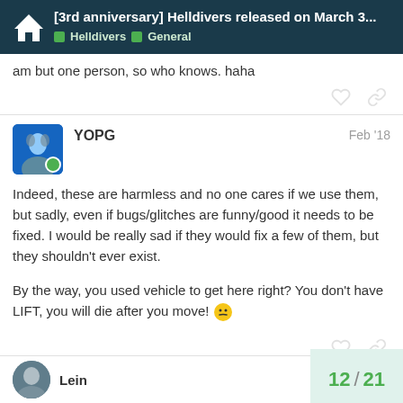[3rd anniversary] Helldivers released on March 3... | Helldivers > General
am but one person, so who knows. haha
YOPG   Feb '18
Indeed, these are harmless and no one cares if we use them, but sadly, even if bugs/glitches are funny/good it needs to be fixed. I would be really sad if they would fix a few of them, but they shouldn't ever exist.

By the way, you used vehicle to get here right? You don't have LIFT, you will die after you move!
Lein
12 / 21